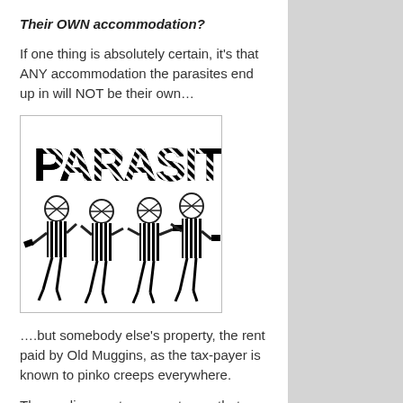Their OWN accommodation?
If one thing is absolutely certain, it's that ANY accommodation the parasites end up in will NOT be their own…
[Figure (illustration): Black and white illustration showing the word PARASITES in bold stylized text above four stick-figure-like characters with striped bodies standing together]
….but somebody else's property, the rent paid by Old Muggins, as the tax-payer is known to pinko creeps everywhere.
The media report goes on to say that 'financial support was withdrawn when the asylum seekers entered the hotels, apparently because the hotels provide three meals a day, basic